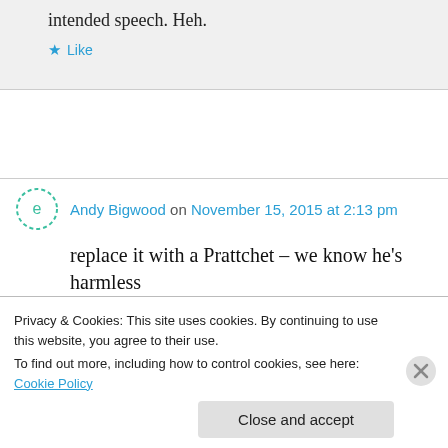intended speech. Heh.
Like
Andy Bigwood on November 15, 2015 at 2:13 pm
replace it with a Prattchet – we know he's harmless
Privacy & Cookies: This site uses cookies. By continuing to use this website, you agree to their use.
To find out more, including how to control cookies, see here: Cookie Policy
Close and accept